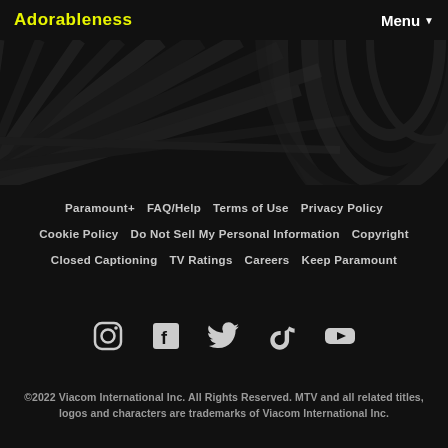Adorableness | Menu
[Figure (illustration): Dark swirling abstract pattern with radial lines on black background]
Paramount+
FAQ/Help
Terms of Use
Privacy Policy
Cookie Policy
Do Not Sell My Personal Information
Copyright
Closed Captioning
TV Ratings
Careers
Keep Paramount
[Figure (illustration): Social media icons: Instagram, Facebook, Twitter, TikTok, YouTube]
©2022 Viacom International Inc. All Rights Reserved. MTV and all related titles, logos and characters are trademarks of Viacom International Inc.